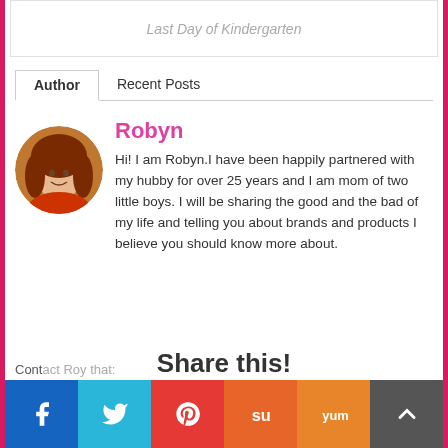Last Day of Kindergarten
Author | Recent Posts
Robyn
Hi! I am Robyn.I have been happily partnered with my hubby for over 25 years and I am mom of two little boys. I will be sharing the good and the bad of my life and telling you about brands and products I believe you should know more about.
Share this!